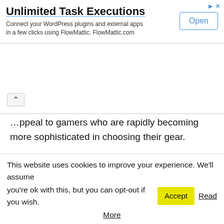[Figure (screenshot): Advertisement banner: 'Unlimited Task Executions' with Open button]
appeal to gamers who are rapidly becoming more sophisticated in choosing their gear.
However, the Gigabyte M27Q isn't perfect and its VA counterparts are better in some ways. Similar IPS-equipped options like the Asus VG27AQL1A have better performance numbers even if they are a bit more expensive. However, price is where this monitor cracks the comparison since it's at least a hundred bucks
This website uses cookies to improve your experience. We'll assume you're ok with this, but you can opt-out if you wish. Accept Read More